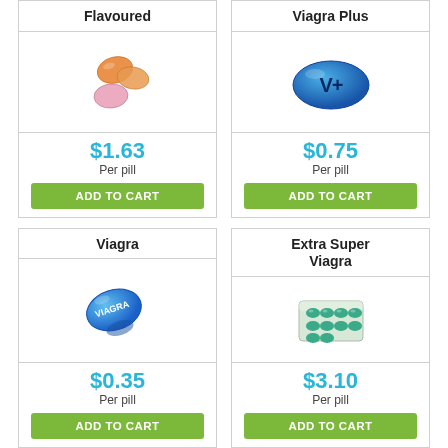Flavoured
[Figure (photo): Colorful flavoured pill tablets (orange, pink)]
$1.63
Per pill
ADD TO CART
Viagra Plus
[Figure (photo): Blue oval Viagra Plus tablet with V+ marking]
$0.75
Per pill
ADD TO CART
Viagra
[Figure (photo): Blue diamond-shaped Viagra tablet with VIAGRA text]
$0.35
Per pill
ADD TO CART
Extra Super Viagra
[Figure (photo): Blister pack of green/teal Extra Super Viagra tablets]
$3.10
Per pill
ADD TO CART